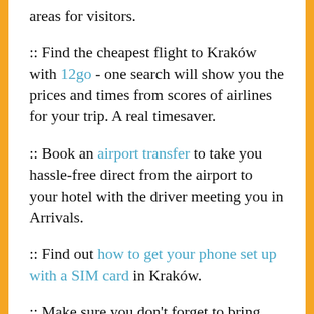areas for visitors.
:: Find the cheapest flight to Kraków with 12go - one search will show you the prices and times from scores of airlines for your trip. A real timesaver.
:: Book an airport transfer to take you hassle-free direct from the airport to your hotel with the driver meeting you in Arrivals.
:: Find out how to get your phone set up with a SIM card in Kraków.
:: Make sure you don't forget to bring any of the essentials with our